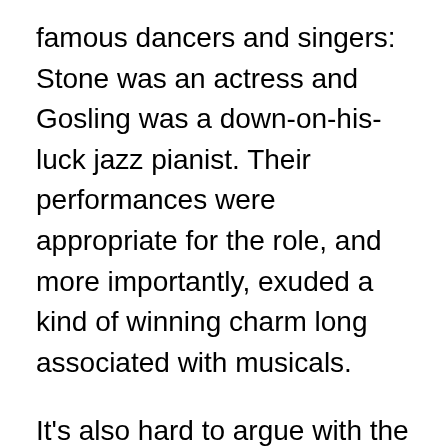famous dancers and singers: Stone was an actress and Gosling was a down-on-his-luck jazz pianist. Their performances were appropriate for the role, and more importantly, exuded a kind of winning charm long associated with musicals.
It's also hard to argue with the idea of casting Hollywood talent when the second-biggest movie of 2017 was Beauty and the Beast, starring Emma Watson, backed by theater veterans. Musicals are often criticized, but BATB will galvanize Disney to remake more of its classics as live action song-and-dance